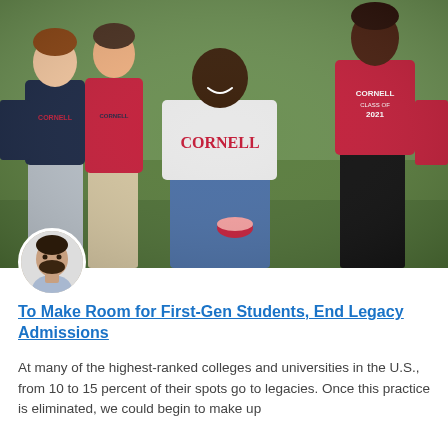[Figure (photo): Group photo of four Cornell University students outdoors on grass. Three students standing in back wearing Cornell shirts (navy blue and red), one male student kneeling in front wearing a white Cornell shirt. A circular author avatar portrait of a bearded man appears overlapping the bottom-left of the photo.]
To Make Room for First-Gen Students, End Legacy Admissions
At many of the highest-ranked colleges and universities in the U.S., from 10 to 15 percent of their spots go to legacies. Once this practice is eliminated, we could begin to make up